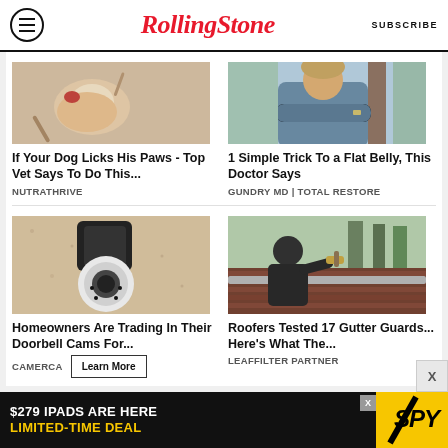RollingStone | SUBSCRIBE
[Figure (photo): Cracked egg with red/orange yolk in a bowl — ad for NutraThrive dog paw licking product]
If Your Dog Licks His Paws - Top Vet Says To Do This...
NUTRATHRIVE
[Figure (photo): Doctor/man with crossed arms standing outdoors near a tree — ad for Gundry MD Total Restore flat belly trick]
1 Simple Trick To a Flat Belly, This Doctor Says
GUNDRY MD | TOTAL RESTORE
[Figure (photo): Outdoor security camera mounted on stucco wall — ad for Camerca doorbell cam replacement]
Homeowners Are Trading In Their Doorbell Cams For...
CAMERCA
[Figure (photo): Worker on roof installing gutter guard — ad for LeafFilter Partner gutter guards test]
Roofers Tested 17 Gutter Guards... Here's What The...
LEAFFILTER PARTNER
Learn More
X
[Figure (infographic): Black banner ad: $279 IPADS ARE HERE LIMITED-TIME DEAL with SPY logo in yellow]
$279 IPADS ARE HERE LIMITED-TIME DEAL